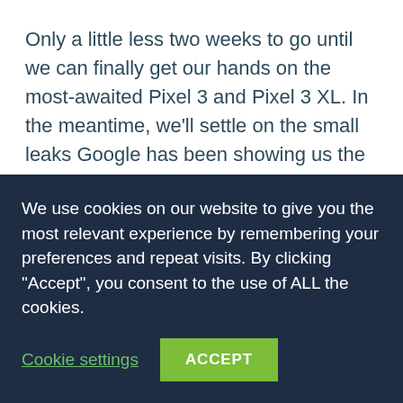Only a little less two weeks to go until we can finally get our hands on the most-awaited Pixel 3 and Pixel 3 XL. In the meantime, we'll settle on the small leaks Google has been showing us the past few days.
Ladies and gentlemen, here are everything we know so far of this new flagship.
It comes in White, Black, and Mint
Google has planned an October 14 launch in…
We use cookies on our website to give you the most relevant experience by remembering your preferences and repeat visits. By clicking "Accept", you consent to the use of ALL the cookies.
Cookie settings
ACCEPT